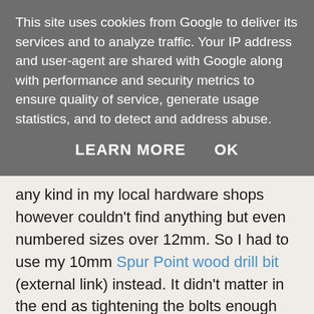This site uses cookies from Google to deliver its services and to analyze traffic. Your IP address and user-agent are shared with Google along with performance and security metrics to ensure quality of service, generate usage statistics, and to detect and address abuse.
LEARN MORE    OK
any kind in my local hardware shops however couldn't find anything but even numbered sizes over 12mm. So I had to use my 10mm Spur Point wood drill bit (external link) instead. It didn't matter in the end as tightening the bolts enough ensured the ball didn't twirl around.
Unfortunately the 10mm Spur Point drill bit wouldn't drill through the "pilot" 8mm hole without getting stuck and decided to drill around rather than strait first creating a wider hole. It first...